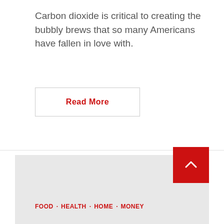Carbon dioxide is critical to creating the bubbly brews that so many Americans have fallen in love with.
Read More
[Figure (other): Large light gray placeholder rectangle, likely an advertisement or image block]
FOOD · HEALTH · HOME · MONEY